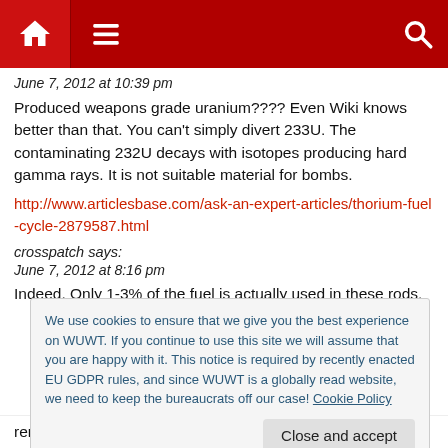Navigation bar with home, menu, and search icons
June 7, 2012 at 10:39 pm
Produced weapons grade uranium???? Even Wiki knows better than that. You can't simply divert 233U. The contaminating 232U decays with isotopes producing hard gamma rays. It is not suitable material for bombs.
http://www.articlesbase.com/ask-an-expert-articles/thorium-fuel-cycle-2879587.html
crosspatch says:
June 7, 2012 at 8:16 pm
Indeed. Only 1-3% of the fuel is actually used in these rods.
We use cookies to ensure that we give you the best experience on WUWT. If you continue to use this site we will assume that you are happy with it. This notice is required by recently enacted EU GDPR rules, and since WUWT is a globally read website, we need to keep the bureaucrats off our case! Cookie Policy
Close and accept
removed in a continuous process. Some of these can have